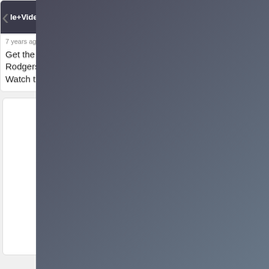[Figure (screenshot): Thumbnail showing partial text 'le+Video' on dark background with chevron arrow]
7 years ago • 3 comments
Get the NEW #CHIC feat Nile Rodgers "I'll Be There" Single  Watch the video …
[Figure (screenshot): Thumbnail showing 'Announcement' heading and 'Dates so far announced are as follows:' on dark background]
2 years ago • 2 comments
The safety of our audience is the most important consideration when …
[Figure (screenshot): Large white/light grey empty card area]